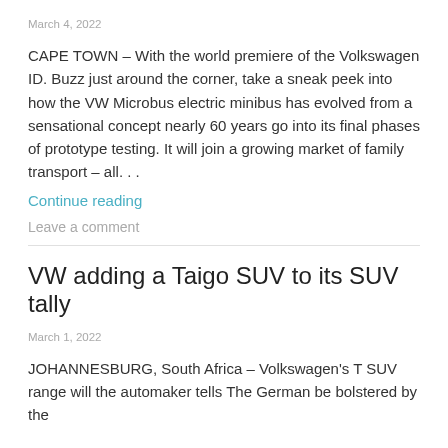March 4, 2022
CAPE TOWN – With the world premiere of the Volkswagen ID. Buzz just around the corner, take a sneak peek into how the VW Microbus electric minibus has evolved from a sensational concept nearly 60 years go into its final phases of prototype testing. It will join a growing market of family transport – all…
Continue reading
Leave a comment
VW adding a Taigo SUV to its SUV tally
March 1, 2022
JOHANNESBURG, South Africa – Volkswagen's T SUV range will the automaker tells The German be bolstered by the